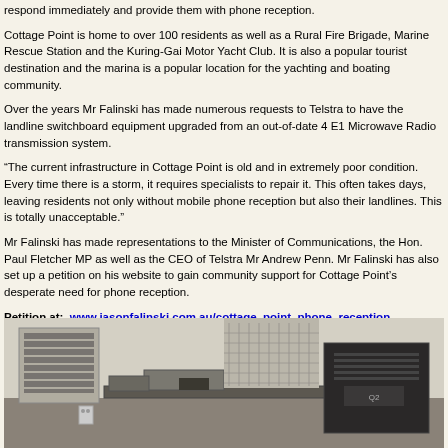respond immediately and provide them with phone reception.
Cottage Point is home to over 100 residents as well as a Rural Fire Brigade, Marine Rescue Station and the Kuring-Gai Motor Yacht Club. It is also a popular tourist destination and the marina is a popular location for the yachting and boating community.
Over the years Mr Falinski has made numerous requests to Telstra to have the landline switchboard equipment upgraded from an out-of-date 4 E1 Microwave Radio transmission system.
“The current infrastructure in Cottage Point is old and in extremely poor condition. Every time there is a storm, it requires specialists to repair it. This often takes days, leaving residents not only without mobile phone reception but also their landlines. This is totally unacceptable.”
Mr Falinski has made representations to the Minister of Communications, the Hon. Paul Fletcher MP as well as the CEO of Telstra Mr Andrew Penn. Mr Falinski has also set up a petition on his website to gain community support for Cottage Point’s desperate need for phone reception.
Petition at:  www.jasonfalinski.com.au/cottage_point_phone_reception
[Figure (photo): Indoor photo of old telecommunications switchboard equipment and hardware on a table or rack, showing cables and electronic components in what appears to be a utility room.]